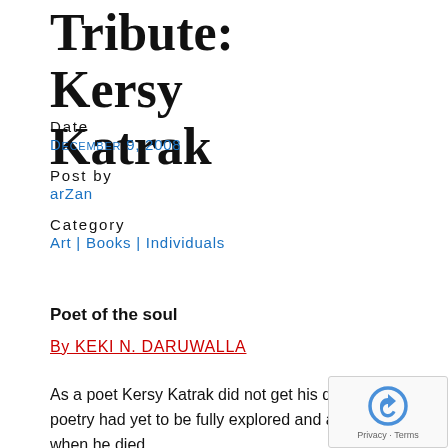Tribute: Kersy Katrak
Date
December 9, 2008
Post by
arZan
Category
Art | Books | Individuals
Poet of the soul
By KEKI N. DARUWALLA
As a poet Kersy Katrak did not get his due, his poetry had yet to be fully explored and articulated when he died.